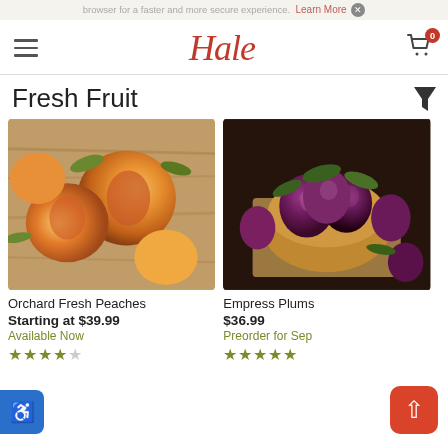browser for a faster and more secure experience. Learn More X
Hale — navigation header with hamburger menu and cart (0 items)
Fresh Fruit
[Figure (photo): Photo of sliced and whole orchard fresh peaches on a wooden surface]
Orchard Fresh Peaches
Starting at $39.99
Available Now
3.5 star rating
[Figure (photo): Photo of Empress Plums in a wooden bowl on burlap, with plums scattered around]
Empress Plums
$36.99
Preorder for Sep
5 star rating